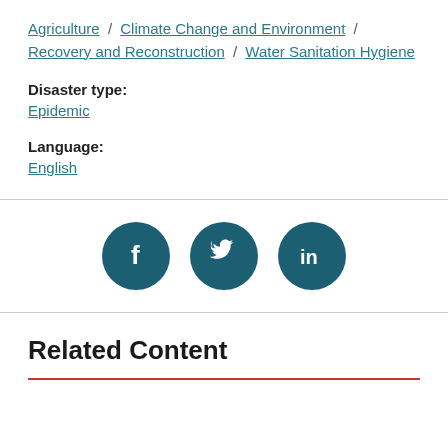Agriculture / Climate Change and Environment / Recovery and Reconstruction / Water Sanitation Hygiene
Disaster type:
Epidemic
Language:
English
[Figure (infographic): Social media sharing icons: Facebook, Twitter, LinkedIn — white icons on dark teal circular backgrounds]
Related Content